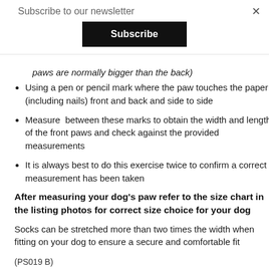Subscribe to our newsletter
Subscribe
paws are normally bigger than the back)
Using a pen or pencil mark where the paw touches the paper (including nails) front and back and side to side
Measure  between these marks to obtain the width and length of the front paws and check against the provided measurements
It is always best to do this exercise twice to confirm a correct measurement has been taken
After measuring your dog's paw refer to the size chart in the listing photos for correct size choice for your dog
Socks can be stretched more than two times the width when fitting on your dog to ensure a secure and comfortable fit
(PS019 B)